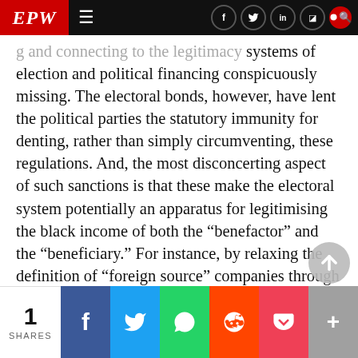EPW (Economic & Political Weekly) — navigation bar
systems of election and political financing conspicuously missing. The electoral bonds, however, have lent the political parties the statutory immunity for denting, rather than simply circumventing, these regulations. And, the most disconcerting aspect of such sanctions is that these make the electoral system potentially an apparatus for legitimising the black income of both the “benefactor” and the “beneficiary.” For instance, by relaxing the definition of “foreign source” companies through the amendment of the 2016 Finance Act, the NDA has opened up the route for legalising the political donations eve…
1 SHARES | Share on Facebook | Share on Twitter | Share on WhatsApp | Share on Reddit | Share on Pocket | More